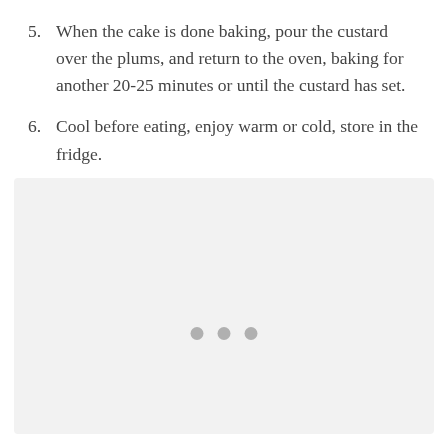5. When the cake is done baking, pour the custard over the plums, and return to the oven, baking for another 20-25 minutes or until the custard has set.
6. Cool before eating, enjoy warm or cold, store in the fridge.
[Figure (photo): Large light gray placeholder image area with three gray dots centered near the bottom, representing an image loading indicator.]